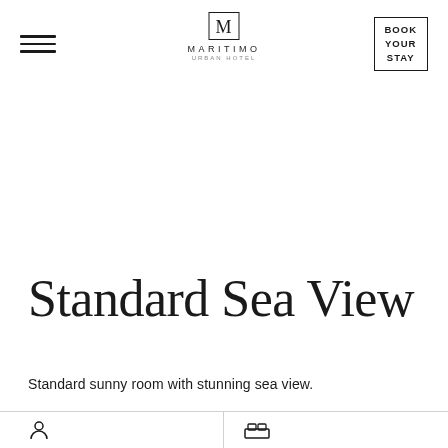MARITIMO (logo with hamburger menu and BOOK YOUR STAY button)
Standard Sea View
Standard sunny room with stunning sea view.